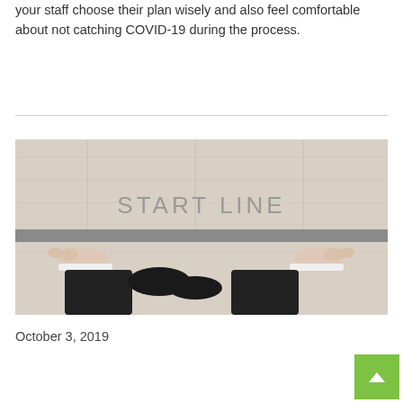your staff choose their plan wisely and also feel comfortable about not catching COVID-19 during the process.
[Figure (photo): Overhead view of a person in a black suit standing at a 'START LINE' marked on a light wood floor, with their hands resting on the floor beside their feet.]
October 3, 2019